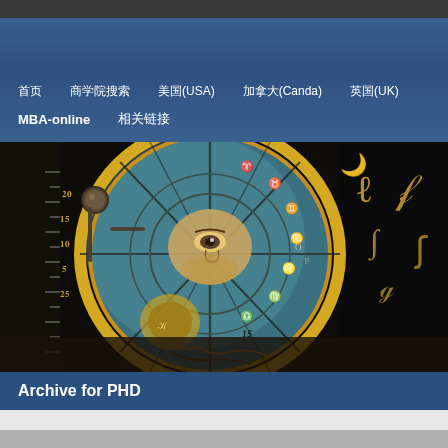Navigation menu with links: 首页, 商学院搜索, 美国(USA), 加拿大(Canda), 英国(UK), MBA-online, 相关链接
[Figure (photo): Close-up photograph of an astronomical clock face with gold decorations, zodiac symbols, and a blue-green celestial disk with an eye motif in the center]
Archive for PHD